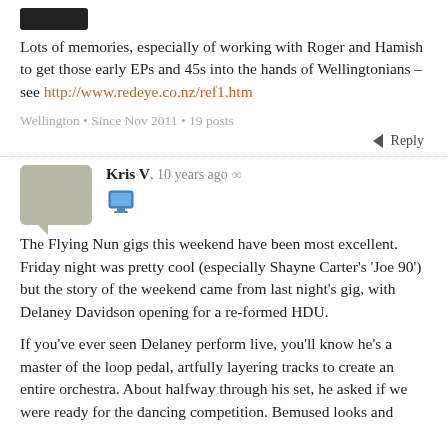[Figure (other): Dark/black avatar or username badge at the top]
Lots of memories, especially of working with Roger and Hamish to get those early EPs and 45s into the hands of Wellingtonians – see http://www.redeye.co.nz/ref1.htm
Wellington • Since Nov 2011 • 19 posts
Reply
[Figure (other): User avatar bubble (grey speech bubble shape) for Kris V]
Kris V, 10 years ago ∞
[Figure (other): Computer monitor emoji/icon]
The Flying Nun gigs this weekend have been most excellent. Friday night was pretty cool (especially Shayne Carter's 'Joe 90') but the story of the weekend came from last night's gig, with Delaney Davidson opening for a re-formed HDU.
If you've ever seen Delaney perform live, you'll know he's a master of the loop pedal, artfully layering tracks to create an entire orchestra. About halfway through his set, he asked if we were ready for the dancing competition. Bemused looks and